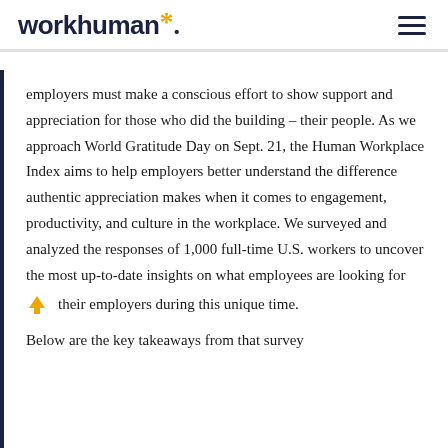workhuman*
employers must make a conscious effort to show support and appreciation for those who did the building – their people. As we approach World Gratitude Day on Sept. 21, the Human Workplace Index aims to help employers better understand the difference authentic appreciation makes when it comes to engagement, productivity, and culture in the workplace. We surveyed and analyzed the responses of 1,000 full-time U.S. workers to uncover the most up-to-date insights on what employees are looking for their employers during this unique time.
Below are the key takeaways from that survey